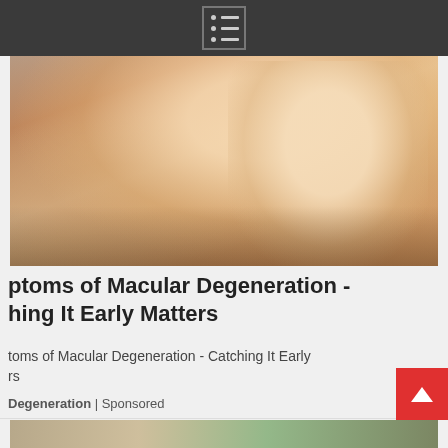Menu / navigation icon
[Figure (photo): Close-up photo of a blonde woman with a pained expression touching/rubbing her eye with her fingers, wearing a black top, against a blurred background]
ptoms of Macular Degeneration - hing It Early Matters
toms of Macular Degeneration - Catching It Early rs
Degeneration | Sponsored
[Figure (photo): Partially visible photo at the bottom of the page showing a woman outdoors with trees and a building in the background]